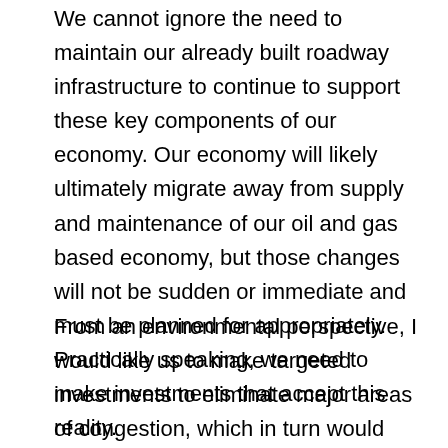We cannot ignore the need to maintain our already built roadway infrastructure to continue to support these key components of our economy. Our economy will likely ultimately migrate away from supply and maintenance of our oil and gas based economy, but those changes will not be sudden or immediate and must be planned for appropriately. Practically speaking, we need to make investments that accept this reality.
From an environmental perspective, I would like us to make targeted investments to eliminate major areas of congestion, which in turn would eliminate long lines of idling traffic. I think we do far more harm forcing persons into congestion than the good that results from frustrated drivers turning to mass transit or bicycle commuting.
However, I would balance these investments with